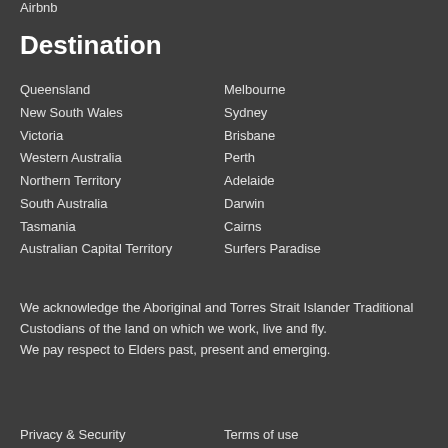Airbnb
Destination
Queensland
New South Wales
Victoria
Western Australia
Northern Territory
South Australia
Tasmania
Australian Capital Territory
Melbourne
Sydney
Brisbane
Perth
Adelaide
Darwin
Cairns
Surfers Paradise
We acknowledge the Aboriginal and Torres Strait Islander Traditional Custodians of the land on which we work, live and fly.
We pay respect to Elders past, present and emerging.
Privacy & Security    Terms of use